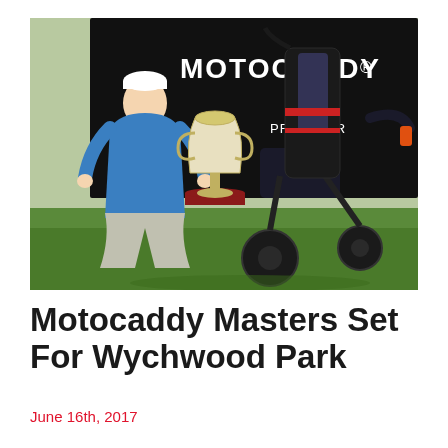[Figure (photo): A golfer in a blue polo shirt and white cap kneeling beside a large silver trophy and a Motocaddy electric golf trolley with a golf bag, in front of a Motocaddy branded backdrop on a golf course. The Motocaddy logo and 'PRO TOUR' text are visible on the black backdrop.]
Motocaddy Masters Set For Wychwood Park
June 16th, 2017